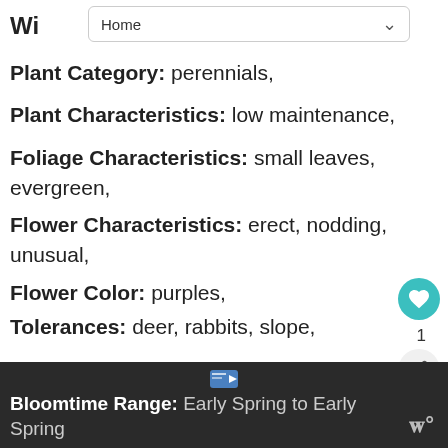Wi Home
Plant Category: perennials,
Plant Characteristics: low maintenance,
Foliage Characteristics: small leaves, evergreen,
Flower Characteristics: erect, nodding, unusual,
Flower Color: purples,
Tolerances: deer, rabbits, slope,
Requirements
WHAT'S NEXT → Echinacea – Purple Cone...
Bloomtime Range: Early Spring to Early Spring